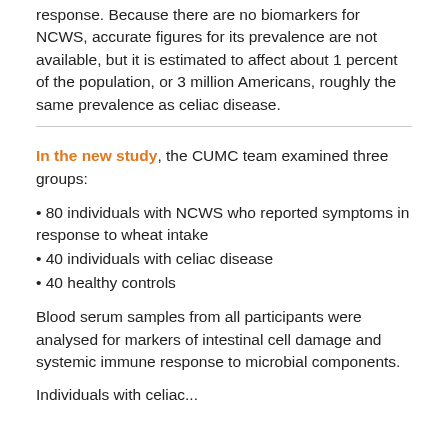response. Because there are no biomarkers for NCWS, accurate figures for its prevalence are not available, but it is estimated to affect about 1 percent of the population, or 3 million Americans, roughly the same prevalence as celiac disease.
In the new study, the CUMC team examined three groups:
• 80 individuals with NCWS who reported symptoms in response to wheat intake
• 40 individuals with celiac disease
• 40 healthy controls
Blood serum samples from all participants were analysed for markers of intestinal cell damage and systemic immune response to microbial components.
Individuals with celiac...